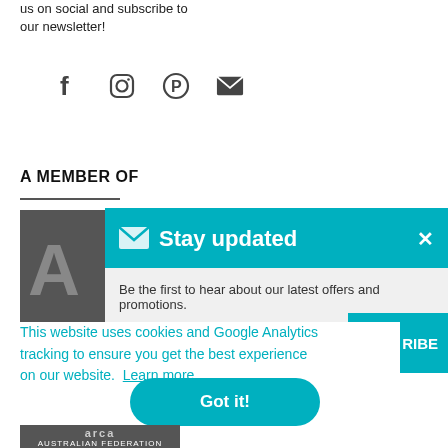us on social and subscribe to our newsletter!
[Figure (illustration): Social media icons: Facebook, Instagram, Pinterest, Email]
A MEMBER OF
[Figure (logo): Dark grey box with large letter A - partial member logo]
[Figure (screenshot): Stay updated popup banner with teal background, envelope icon, title 'Stay updated', close X button]
Be the first to hear about our latest offers and promotions.
This website uses cookies and Google Analytics tracking to ensure you get the best experience on our website.  Learn more
[Figure (other): Partial SUBSCRIBE button in teal]
[Figure (other): Got it! button in teal with rounded corners]
[Figure (logo): Partial ARCA Australian Federation logo at bottom]